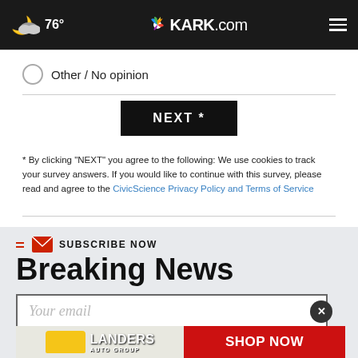76° KARK.com
Other / No opinion
NEXT *
* By clicking "NEXT" you agree to the following: We use cookies to track your survey answers. If you would like to continue with this survey, please read and agree to the CivicScience Privacy Policy and Terms of Service
SUBSCRIBE NOW
Breaking News
Your email
[Figure (screenshot): LANDERS AUTO GROUP advertisement with school bus and Shop Now button]